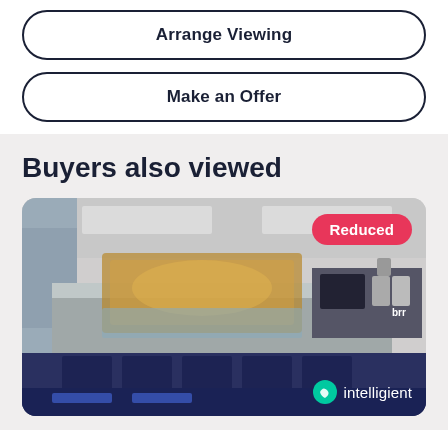Arrange Viewing
Make an Offer
Buyers also viewed
[Figure (photo): Interior photo of a commercial kitchen with stainless steel serving counter, heated food display units, and kitchen equipment. A pink 'Reduced' badge appears in the top right corner. An 'intelligent' watermark logo appears in the bottom right corner.]